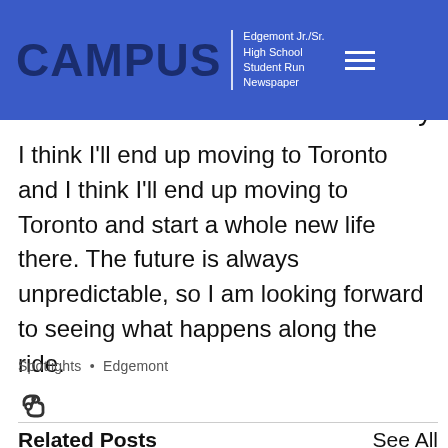CAMPUS | Edgemont Jr./Sr. High School Student Run Newspaper
e how
I will
ability.
I think I'll end up moving to Toronto and start a whole new life there. The future is always unpredictable, so I am looking forward to seeing what happens along the ride.
Spotlights · Edgemont
[Figure (other): Link/chain icon]
Related Posts
See All
[Figure (photo): Thumbnail images: purple, pressed botanical plants on book pages, brick wall partial]